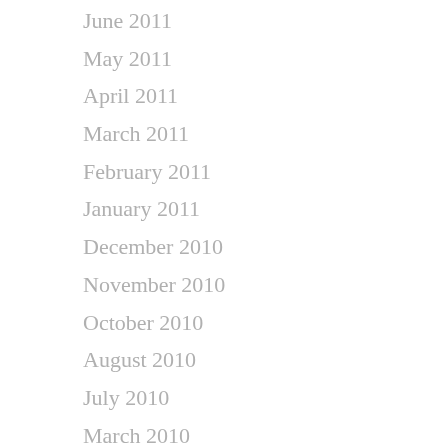June 2011
May 2011
April 2011
March 2011
February 2011
January 2011
December 2010
November 2010
October 2010
August 2010
July 2010
March 2010
February 2010
January 2010
December 2009
November 2009
October 2009